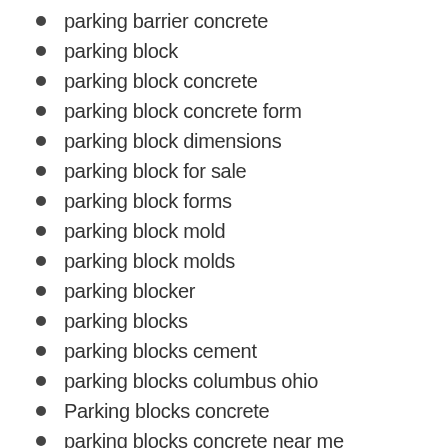parking barrier concrete
parking block
parking block concrete
parking block concrete form
parking block dimensions
parking block for sale
parking block forms
parking block mold
parking block molds
parking blocker
parking blocks
parking blocks cement
parking blocks columbus ohio
Parking blocks concrete
parking blocks concrete near me
parking blocks for cars
parking blocks for sale
parking blocks for sale near me